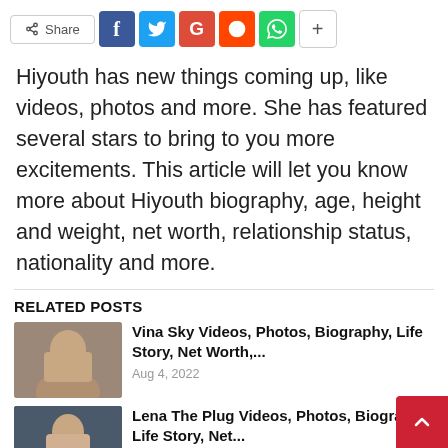[Figure (infographic): Social share bar with Share button, Facebook, Twitter, Google+, Reddit, WhatsApp icons, and a + more button]
Hiyouth has new things coming up, like videos, photos and more. She has featured several stars to bring to you more excitements. This article will let you know more about Hiyouth biography, age, height and weight, net worth, relationship status, nationality and more.
RELATED POSTS
[Figure (photo): Thumbnail photo of Vina Sky]
Vina Sky Videos, Photos, Biography, Life Story, Net Worth,...
Aug 4, 2022
[Figure (photo): Thumbnail photo of Lena The Plug]
Lena The Plug Videos, Photos, Biography, Life Story, Net...
Aug 4, 2022